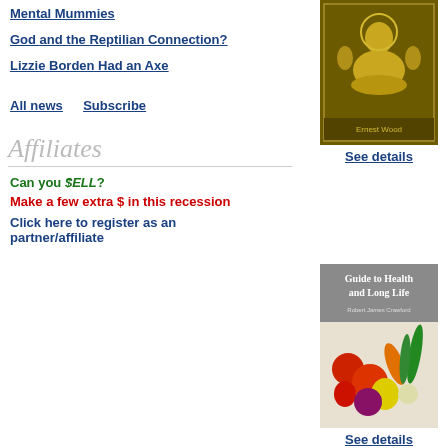Mental Mummies
God and the Reptilian Connection?
Lizzie Borden Had an Axe
All news   Subscribe
[Figure (illustration): Book cover for Ernest Wood, showing a seated Buddha/meditating figure in gold tones on dark olive background]
See details
Affiliates
Can you $ELL?
Make a few extra $ in this recession
Click here to register as an partner/affiliate
[Figure (illustration): Book cover: Guide to Health and Long Life by Robert James Crawford, showing vegetables and fruits]
See details